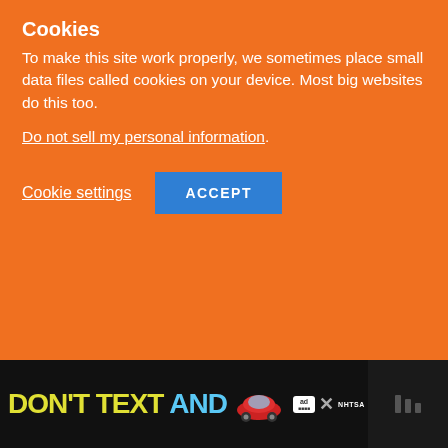Gabbi uses that moment to shoot the Okapi in the head, and Armin is freed.
Cookies
To make this site work properly, we sometimes place small data files called cookies on your device. Most big websites do this too.
Do not sell my personal information.
Cookie settings
ACCEPT
[Figure (screenshot): Gray placeholder image area for article content]
WHAT'S NEXT → Attack on Titan Manga...
[Figure (infographic): NHTSA advertisement banner: DON'T TEXT AND [car icon] with ad badge and X close button]